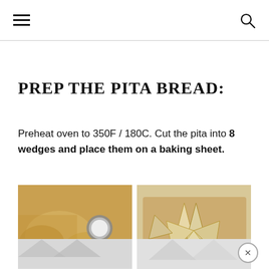Navigation header with hamburger menu and search icon
PREP THE PITA BREAD:
Preheat oven to 350F / 180C. Cut the pita into 8 wedges and place them on a baking sheet.
[Figure (photo): Two food photos side by side: left photo shows pita bread pieces with a small bowl of salt on a white surface; right photo shows pita bread cut into wedges on a wooden cutting board]
[Figure (photo): Partial view of two more food photos at the bottom of the page, partially cut off]